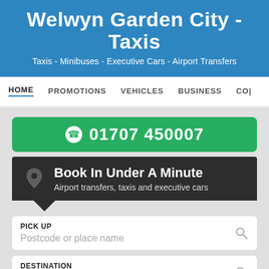Welwyn Garden City - Taxis
Taxis - Minibuses - Executive Cars - Airport Transfers
HOME   PROMOTIONS   VEHICLES   BUSINESS   CO|
01707 450007
Book In Under A Minute
Airport transfers, taxis and executive cars
PICK UP
Postcode or place name
DESTINATION
Postcode or place name
Add Via